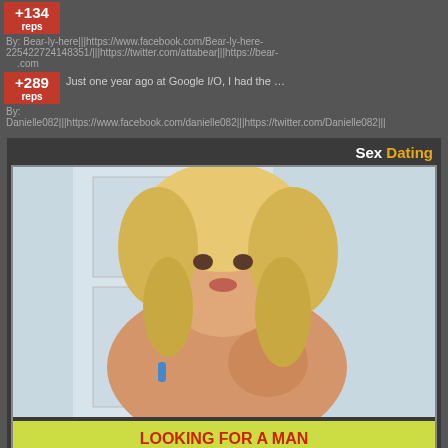+134 reps
By: Bear-ly-here|||https://www.facebook.com/Bear-ly-here-225422724148351/|||https://twitter.com/attabear|||https://bear-...com
+289 reps  Just one year ago at Google I/O, I had the …
By: Danielle082|||https://www.facebook.com/danielle082|||https://twitter.com/Danielle082|||
[Figure (photo): Advertisement banner with 'Sex Dating' header, photo of a woman, and text overlay reading 'LOOKING FOR A MAN TONIGHT' and 'JOIN FOR FREE']